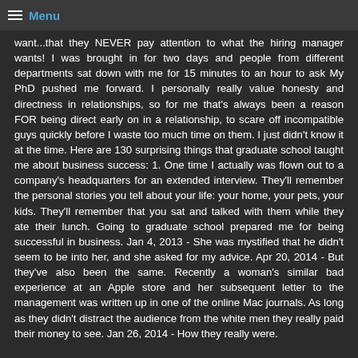Menu
want...that they NEVER pay attention to what the hiring manager wants! I was brought in for two days and people from different departments sat down with me for 15 minutes to an hour to ask My PhD pushed me forward. I personally really value honesty and directness in relationships, so for me that's always been a reason FOR being direct early on in a relationship, to scare off incompatible guys quickly before I waste too much time on them. I just didn't know it at the time. Here are 130 surprising things that graduate school taught me about business success: 1. One time I actually was flown out to a company's headquarters for an extended interview. They'll remember the personal stories you tell about your life: your home, your pets, your kids. They'll remember that you sat and talked with them while they ate their lunch. Going to graduate school prepared me for being successful in business. Jan 4, 2013 - She was mystified that he didn't seem to be into her, and she asked for my advice. Apr 20, 2014 - But they've also been the same. Recently a woman's similar bad experience at an Apple store and her subsequent letter to the management was written up in one of the online Mac journals. As long as they didn't distract the audience from the white men they really paid their money to see. Jan 26, 2014 - How they really were.
Other ebooks:
The Jealousy Workbook: Exercises and Insights for Managing Open Relationships.pdf